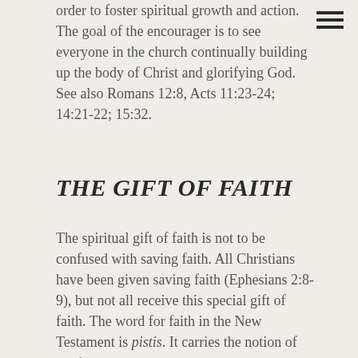order to foster spiritual growth and action. The goal of the encourager is to see everyone in the church continually building up the body of Christ and glorifying God. See also Romans 12:8, Acts 11:23-24; 14:21-22; 15:32.
THE GIFT OF FAITH
The spiritual gift of faith is not to be confused with saving faith. All Christians have been given saving faith (Ephesians 2:8-9), but not all receive this special gift of faith. The word for faith in the New Testament is pistis. It carries the notion of confidence, certainty, trust, and assurance in the object of faith.